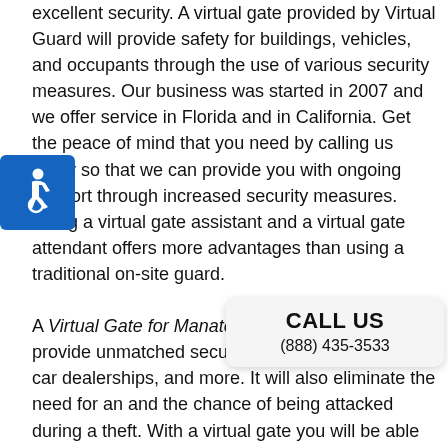excellent security. A virtual gate provided by Virtual Guard will provide safety for buildings, vehicles, and occupants through the use of various security measures. Our business was started in 2007 and we offer service in Florida and in California. Get the peace of mind that you need by calling us today so that we can provide you with ongoing support through increased security measures. Using a virtual gate assistant and a virtual gate attendant offers more advantages than using a traditional on-site guard.

A Virtual Gate for Manatee County managers will provide unmatched security for buildings, vehicles, car dealerships, and more. It will also eliminate the need for an ... and the chance of being attacked during a theft. With a virtual gate you will be able to protect you ... and prevent intruders, theft, or vandalism. You will be able to monitor your property at all times, which will give you peace of mind. A virtual gate security system is more affordable and
[Figure (illustration): Accessibility icon — white wheelchair user symbol on blue rounded square background]
CALL US
(888) 435-3533